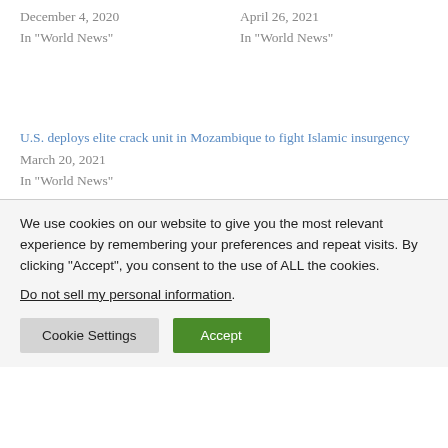December 4, 2020
In "World News"
April 26, 2021
In "World News"
U.S. deploys elite crack unit in Mozambique to fight Islamic insurgency
March 20, 2021
In "World News"
We use cookies on our website to give you the most relevant experience by remembering your preferences and repeat visits. By clicking “Accept”, you consent to the use of ALL the cookies. Do not sell my personal information.
Cookie Settings
Accept